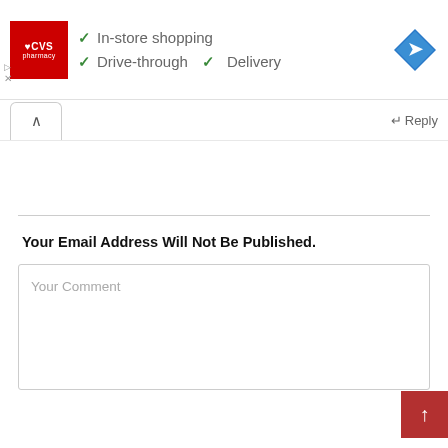[Figure (screenshot): CVS Pharmacy advertisement banner showing logo with checkmarks for In-store shopping, Drive-through, and Delivery features, plus a navigation direction icon]
[Figure (screenshot): Web UI reply bar with collapse button (chevron up) on left and Reply link on right]
Your Email Address Will Not Be Published.
[Figure (screenshot): Comment text area input box with placeholder text 'Your Comment']
[Figure (screenshot): Red scroll-to-top button with white upward arrow in bottom right corner]